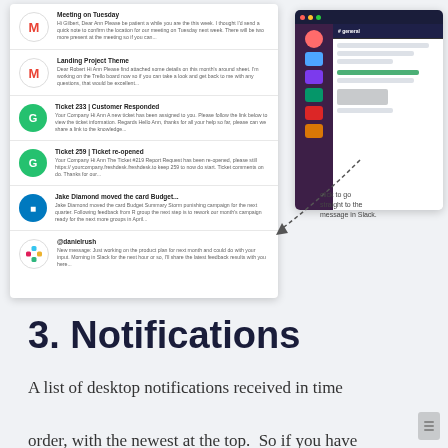[Figure (screenshot): Screenshot showing a notification list panel on the left with email and app notifications (Meeting on Tuesday, Landing Project Theme, Ticket 233 Customer Responded, Ticket 259 Ticket re-opened, Jake Diamond moved the card Budget..., @danielrush), and a Slack desktop application window on the right with a dotted arrow annotation reading 'click to go straight to the message in Slack.']
3. Notifications
A list of desktop notifications received in time order, with the newest at the top.  So if you have